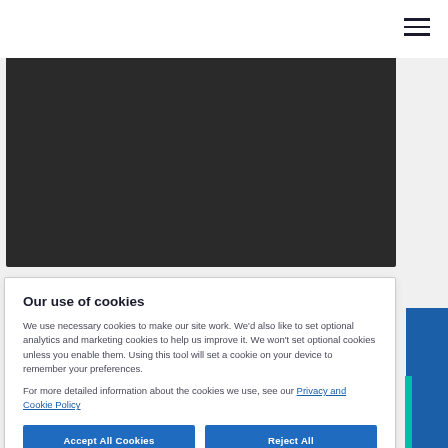[Figure (screenshot): Navigation bar with hamburger menu icon (three horizontal lines) on the right side, white background]
[Figure (photo): Dark/black rectangular image area, content not visible]
Our use of cookies
We use necessary cookies to make our site work. We'd also like to set optional analytics and marketing cookies to help us improve it. We won't set optional cookies unless you enable them. Using this tool will set a cookie on your device to remember your preferences.
For more detailed information about the cookies we use, see our Privacy and Cookie Policy
Accept All Cookies
Reject All